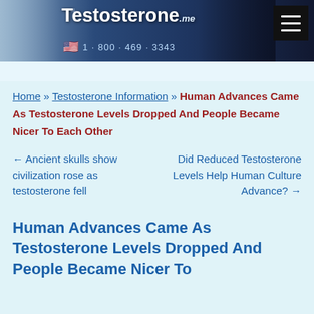[Figure (screenshot): Testosterone.me website banner with doctor image, syringe, US flag, phone number 1-800-469-3343, and hamburger menu button]
Home » Testosterone Information » Human Advances Came As Testosterone Levels Dropped And People Became Nicer To Each Other
← Ancient skulls show civilization rose as testosterone fell
Did Reduced Testosterone Levels Help Human Culture Advance? →
Human Advances Came As Testosterone Levels Dropped And People Became Nicer To